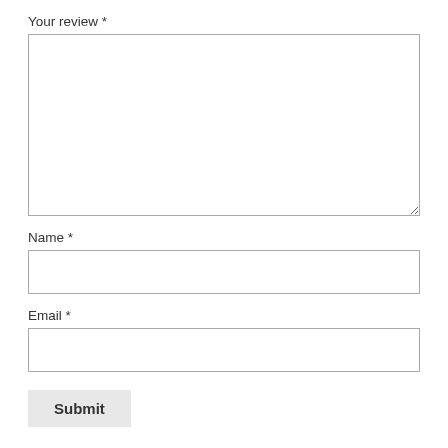Your review *
Name *
Email *
Submit